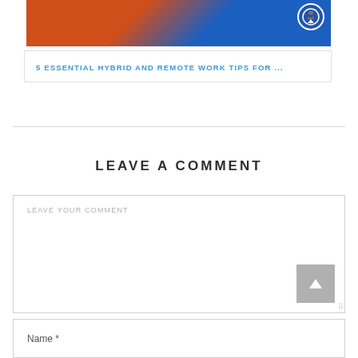[Figure (photo): Blog post thumbnail image with orange and blue gradient background with person silhouette and a circular badge logo in upper right]
5 ESSENTIAL HYBRID AND REMOTE WORK TIPS FOR ...
LEAVE A COMMENT
LEAVE YOUR COMMENT
Name *